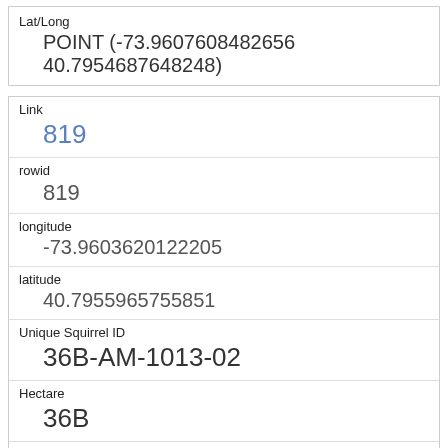| Lat/Long | POINT (-73.9607608482656 40.7954687648248) |
| Link | 819 |
| rowid | 819 |
| longitude | -73.9603620122205 |
| latitude | 40.7955965755851 |
| Unique Squirrel ID | 36B-AM-1013-02 |
| Hectare | 36B |
| Shift | AM |
| Date | 10132018 |